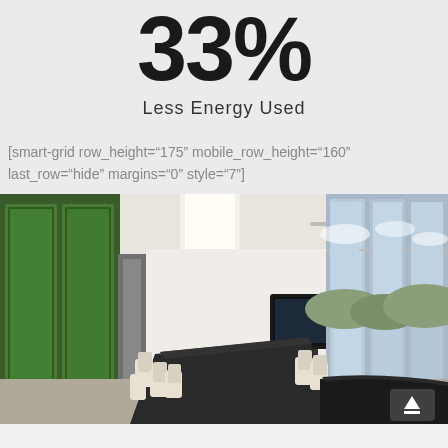33%
Less Energy Used
[smart-grid row_height="175" mobile_row_height="160" last_row="hide" margins="0" style="7"]
[Figure (photo): Interior of a modern conference room with a long dark table, cream-colored chairs, green glass wall panels on the left, floor-to-ceiling windows on the right showing an outdoor view, and a TV screen mounted on the far wall. A ceiling fan is visible above.]